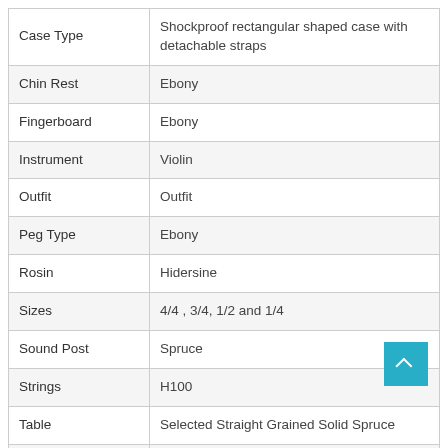| Attribute | Value |
| --- | --- |
| Case Type | Shockproof rectangular shaped case with detachable straps |
| Chin Rest | Ebony |
| Fingerboard | Ebony |
| Instrument | Violin |
| Outfit | Outfit |
| Peg Type | Ebony |
| Rosin | Hidersine |
| Sizes | 4/4 , 3/4, 1/2 and 1/4 |
| Sound Post | Spruce |
| Strings | H100 |
| Table | Selected Straight Grained Solid Spruce |
| Tailpiece | Carbon |
| Tuners | 4 Integral Fine Tuners |